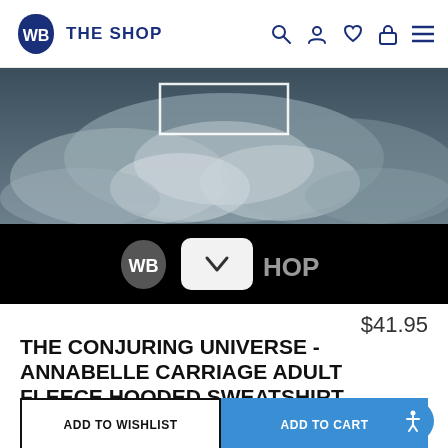WB THE SHOP
[Figure (photo): Dark moody cloudy sky background image with a white rectangle outline in the upper center, hero banner section for WB The Shop website]
[Figure (logo): WB shield logo and THE SHOP text in white on black background with a dropdown chevron button]
$41.95
THE CONJURING UNIVERSE - ANNABELLE CARRIAGE ADULT FLEECE HOODED SWEATSHIRT
ADD TO WISHLIST
ADD TO CART